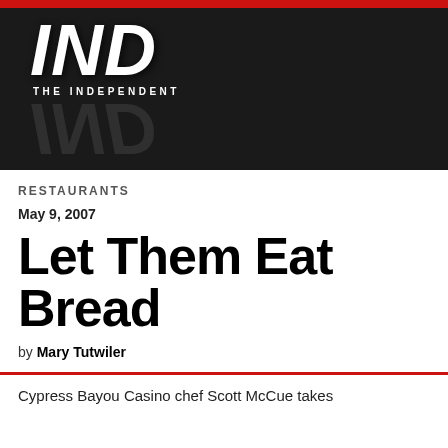[Figure (logo): The Independent newspaper logo — large serif italic 'IND' letters in white on black background with reflection, and 'THE INDEPENDENT' subtitle text]
RESTAURANTS
May 9, 2007
Let Them Eat Bread
by Mary Tutwiler
Cypress Bayou Casino chef Scott McCue takes